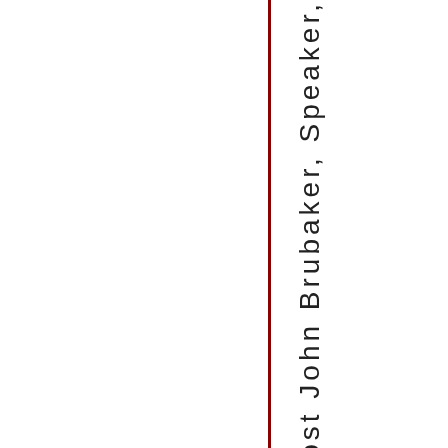localhost John Brubaker, Speaker,
[Figure (other): Dark red vertical line dividing the page]